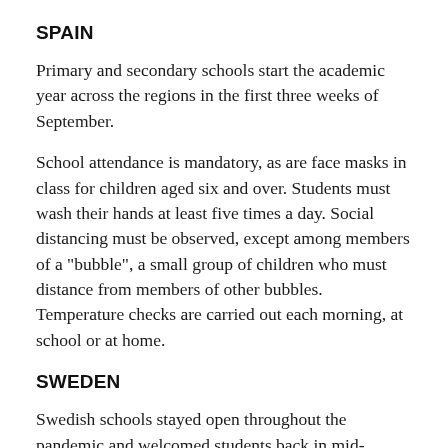SPAIN
Primary and secondary schools start the academic year across the regions in the first three weeks of September.
School attendance is mandatory, as are face masks in class for children aged six and over. Students must wash their hands at least five times a day. Social distancing must be observed, except among members of a "bubble", a small group of children who must distance from members of other bubbles. Temperature checks are carried out each morning, at school or at home.
SWEDEN
Swedish schools stayed open throughout the pandemic and welcomed students back in mid-August after the summer break. Local authorities decide how to handle possible outbreaks, including the option of closing